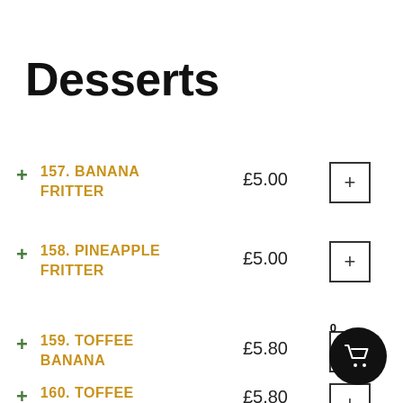Desserts
157. BANANA FRITTER  £5.00
158. PINEAPPLE FRITTER  £5.00
159. TOFFEE BANANA  £5.80
160. TOFFEE APPLE  £5.80